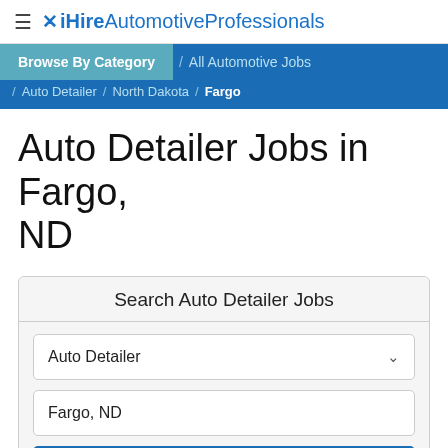≡ ✕ iHire Automotive Professionals
Browse By Category / All Automotive Jobs / Auto Detailer / North Dakota / Fargo
Auto Detailer Jobs in Fargo, ND
Search Auto Detailer Jobs
Auto Detailer [dropdown]
Fargo, ND [input]
Search [button]